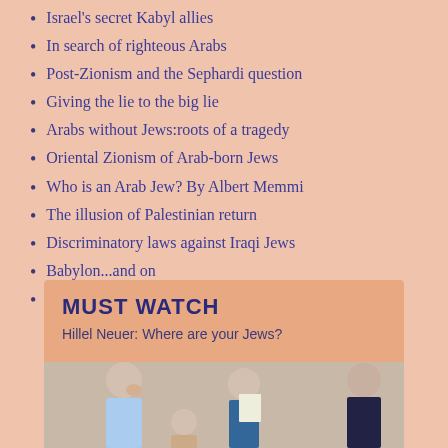Israel's secret Kabyl allies
In search of righteous Arabs
Post-Zionism and the Sephardi question
Giving the lie to the big lie
Arabs without Jews:roots of a tragedy
Oriental Zionism of Arab-born Jews
Who is an Arab Jew? By Albert Memmi
The illusion of Palestinian return
Discriminatory laws against Iraqi Jews
Babylon...and on
MUST WATCH
Hillel Neuer: Where are your Jews?
[Figure (photo): A group of people, including a woman in a light blue top holding her hand near her face, at what appears to be an event or conference setting]